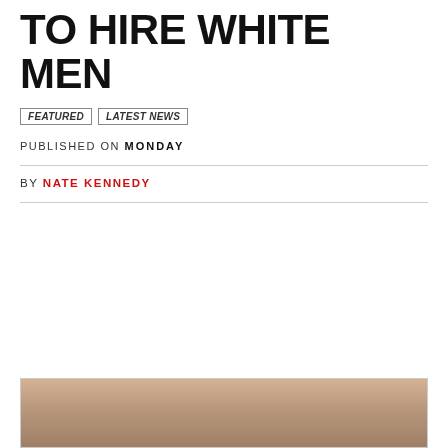TO HIRE WHITE MEN
FEATURED
LATEST NEWS
PUBLISHED ON MONDAY
BY NATE KENNEDY
[Figure (photo): Partially visible photo at bottom of page, showing warm brown tones suggesting a person or object]